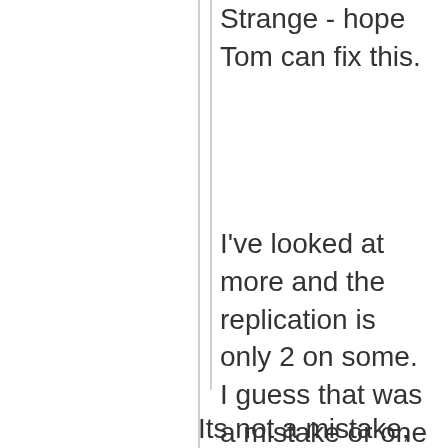Strange - hope Tom can fix this.
I've looked at more and the replication is only 2 on some. I guess that was a mistake or one got lost as per earlier messages in here.
Its not a mistake, its a